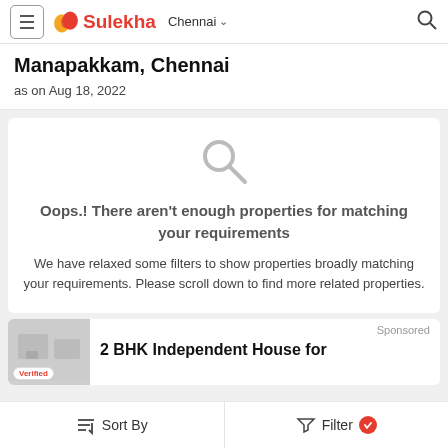Sulekha — Chennai navigation bar
Manapakkam, Chennai
as on Aug 18, 2022
Oops.! There aren't enough properties for matching your requirements
We have relaxed some filters to show properties broadly matching your requirements. Please scroll down to find more related properties.
Sponsored
Verified
2 BHK Independent House for
Sort By   Filter